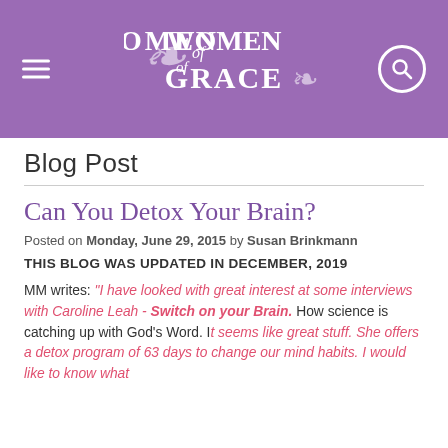[Figure (logo): Women of Grace website header with purple background, hamburger menu icon on left, search icon on right, and Women of Grace logo in center]
Blog Post
Can You Detox Your Brain?
Posted on Monday, June 29, 2015 by Susan Brinkmann
THIS BLOG WAS UPDATED IN DECEMBER, 2019
MM writes: "I have looked with great interest at some interviews with Caroline Leah - Switch on your Brain. How science is catching up with God's Word. It seems like great stuff. She offers a detox program of 63 days to change our mind habits. I would like to know what